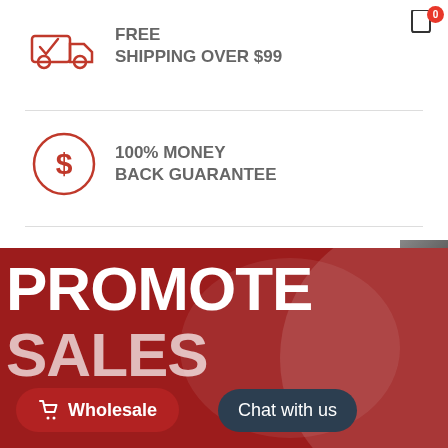[Figure (infographic): Red truck with checkmark icon — Free Shipping]
FREE
SHIPPING OVER $99
[Figure (infographic): Red dollar sign in circle icon — Money Back Guarantee]
100% MONEY
BACK GUARANTEE
[Figure (infographic): Red clock icon — 3 Years Limited Warranty]
3 YEARS
LIMITED WARRANTY
[Figure (infographic): Red promotional banner reading PROMOTE P SALES with wholesale and chat buttons overlay]
Wholesale
Chat with us